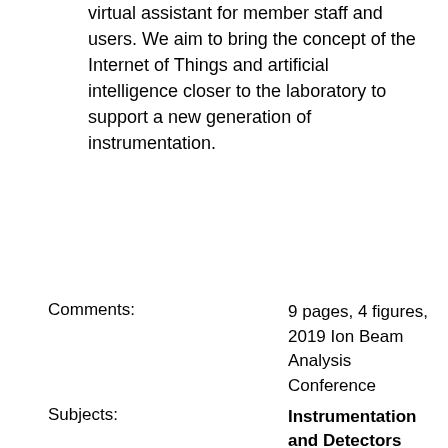virtual assistant for member staff and users. We aim to bring the concept of the Internet of Things and artificial intelligence closer to the laboratory to support a new generation of instrumentation.
Comments: 9 pages, 4 figures, 2019 Ion Beam Analysis Conference
Subjects: Instrumentation and Detectors (physics.ins-det); Applied Physics (physics.app-ph)
Journal reference: Nuclear Inst. and Methods in Physics Research B 478 (2020) 111-115